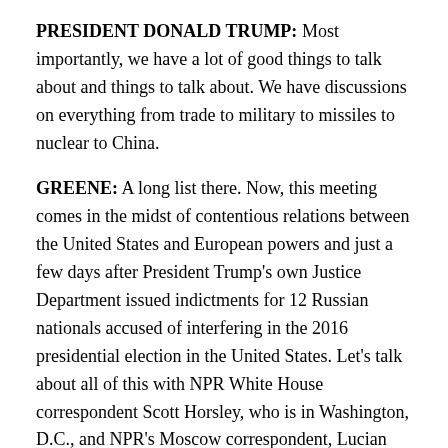PRESIDENT DONALD TRUMP: Most importantly, we have a lot of good things to talk about and things to talk about. We have discussions on everything from trade to military to missiles to nuclear to China.
GREENE: A long list there. Now, this meeting comes in the midst of contentious relations between the United States and European powers and just a few days after President Trump's own Justice Department issued indictments for 12 Russian nationals accused of interfering in the 2016 presidential election in the United States. Let's talk about all of this with NPR White House correspondent Scott Horsley, who is in Washington, D.C., and NPR's Moscow correspondent, Lucian Kim, who is with the NPR team covering the summit in Helsinki. Hello to you both.
SCOTT HORSLEY: Good morning.